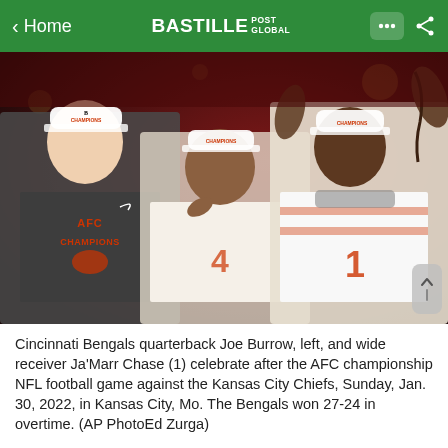< Home  BASTILLE POST GLOBAL
[Figure (photo): Cincinnati Bengals players celebrating after the AFC Championship game. Joe Burrow on the left wearing a grey AFC Champions shirt, another player wearing number 4 jersey, and Ja'Marr Chase (number 1) on the right with arms raised, all wearing AFC Champions hats.]
Cincinnati Bengals quarterback Joe Burrow, left, and wide receiver Ja'Marr Chase (1) celebrate after the AFC championship NFL football game against the Kansas City Chiefs, Sunday, Jan. 30, 2022, in Kansas City, Mo. The Bengals won 27-24 in overtime. (AP PhotoEd Zurga)